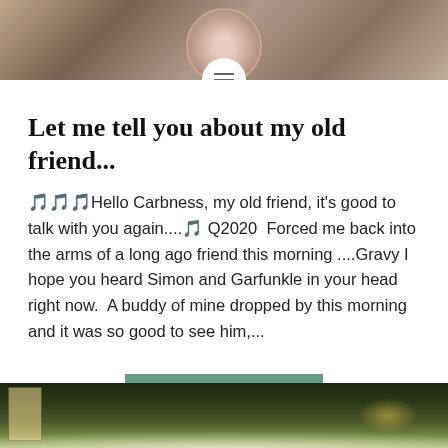[Figure (photo): Top decorative photo showing a patterned plate/dish on a stone or granite surface with a circular menu icon overlay]
Let me tell you about my old friend...
🎵🎵🎵Hello Carbness, my old friend, it's good to talk with you again....🎵 Q2020  Forced me back into the arms of a long ago friend this morning ....Gravy I hope you heard Simon and Garfunkle in your head right now.  A buddy of mine dropped by this morning and it was so good to see him,...
READ MORE
[Figure (photo): Bottom photo showing a garden scene with white flowers, greenery, and a warm sunset light visible through trees near a house]